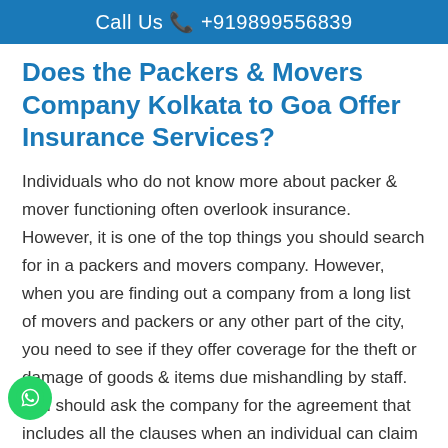Call Us 📞 +919899556839
Does the Packers & Movers Company Kolkata to Goa Offer Insurance Services?
Individuals who do not know more about packer & mover functioning often overlook insurance. However, it is one of the top things you should search for in a packers and movers company. However, when you are finding out a company from a long list of movers and packers or any other part of the city, you need to see if they offer coverage for the theft or damage of goods & items due mishandling by staff. You should ask the company for the agreement that includes all the clauses when an individual can claim the insurance. If the movers and packers company pass